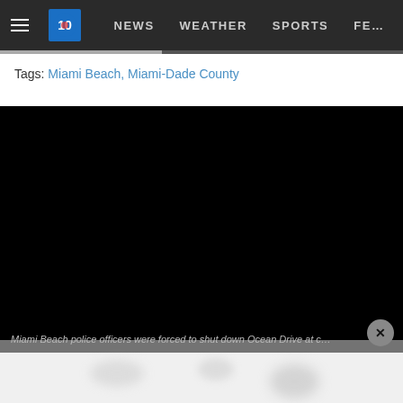NEWS   WEATHER   SPORTS   FE...
Tags: Miami Beach, Miami-Dade County
[Figure (screenshot): Black video player area embedded in news website]
Miami Beach police officers were forced to shut down Ocean Drive at c...
[Figure (other): Blurred bottom section of webpage]